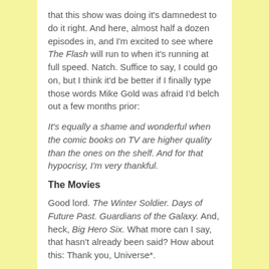that this show was doing it's damnedest to do it right. And here, almost half a dozen episodes in, and I'm excited to see where The Flash will run to when it's running at full speed. Natch. Suffice to say, I could go on, but I think it'd be better if I finally type those words Mike Gold was afraid I'd belch out a few months prior:
It's equally a shame and wonderful when the comic books on TV are higher quality than the ones on the shelf. And for that hypocrisy, I'm very thankful.
The Movies
Good lord. The Winter Soldier. Days of Future Past. Guardians of the Galaxy. And, heck, Big Hero Six. What more can I say, that hasn't already been said? How about this: Thank you, Universe*.
* 616, for those who want to be completest. Prove me wrong in 2015, Superman v. Batman: Dawn of Angst.